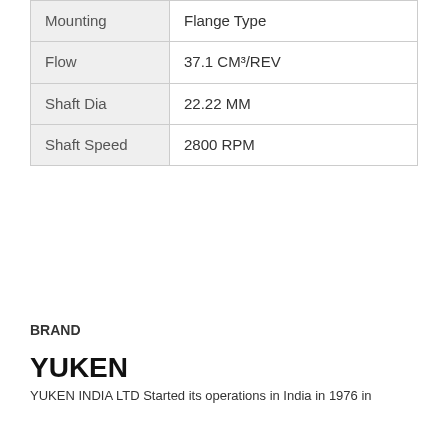| Property | Value |
| --- | --- |
| Mounting | Flange Type |
| Flow | 37.1 CM³/REV |
| Shaft Dia | 22.22 MM |
| Shaft Speed | 2800 RPM |
BRAND
YUKEN
YUKEN INDIA LTD Started its operations in India in 1976 in